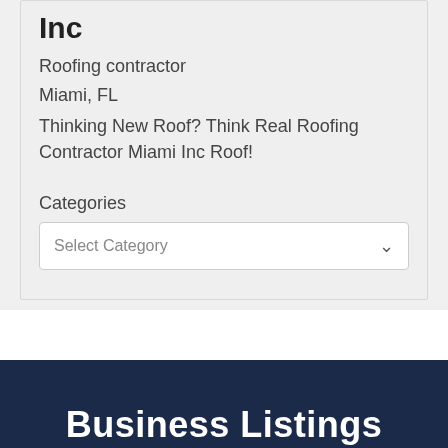Inc
Roofing contractor
Miami, FL
Thinking New Roof? Think Real Roofing Contractor Miami Inc Roof!
Categories
Select Category
Business Listings